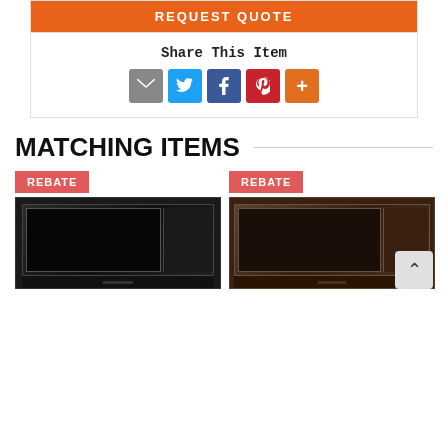REQUEST QUOTE
Share This Item
[Figure (infographic): Social share icons: email (gray), Twitter (blue), Facebook (blue), Pinterest (red), More (orange)]
MATCHING ITEMS
[Figure (photo): Black stainless steel Samsung microwave with REBATE badge]
[Figure (photo): Tuscan stainless steel Samsung microwave with REBATE badge]